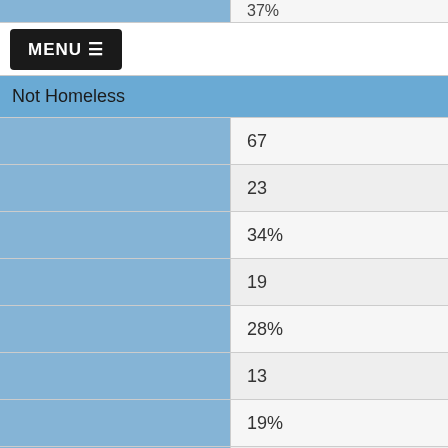37%
[Figure (screenshot): MENU hamburger button in black rounded rectangle]
Not Homeless
|  |  |
| --- | --- |
|  | 67 |
|  | 23 |
|  | 34% |
|  | 19 |
|  | 28% |
|  | 13 |
|  | 19% |
|  | 12 |
|  | 18% |
|  | 25 |